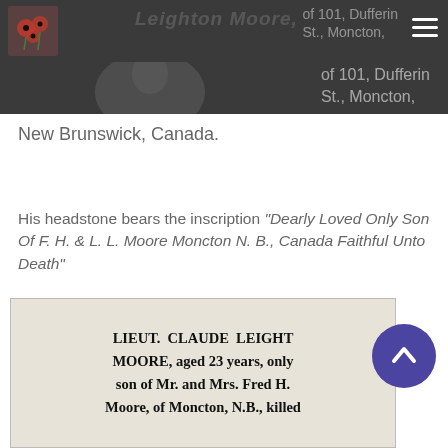Leighton Moore, of 101, Dufferin St., Moncton, New Brunswick, Canada.
His headstone bears the inscription "Dearly Loved Only Son Of F. H. & L. L. Moore Moncton N. B., Canada Faithful Unto Death"
[Figure (photo): Newspaper clipping showing text: LIEUT. CLAUDE LEIGHTON MOORE, aged 23 years, only son of Mr. and Mrs. Fred H. Moore, of Moncton, N.B., killed]